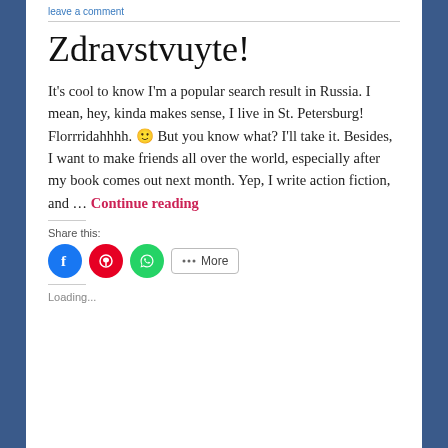leave a comment
Zdravstvuyte!
It's cool to know I'm a popular search result in Russia. I mean, hey, kinda makes sense, I live in St. Petersburg! Florrridahhhh. 🙂 But you know what? I'll take it. Besides, I want to make friends all over the world, especially after my book comes out next month. Yep, I write action fiction, and … Continue reading
Share this:
Loading...